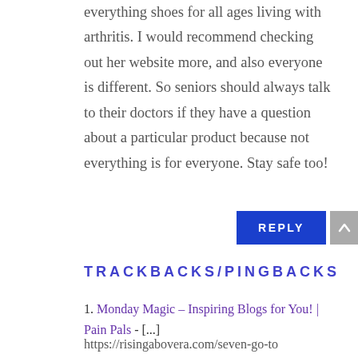everything shoes for all ages living with arthritis. I would recommend checking out her website more, and also everyone is different. So seniors should always talk to their doctors if they have a question about a particular product because not everything is for everyone. Stay safe too!
REPLY
TRACKBACKS/PINGBACKS
1. Monday Magic – Inspiring Blogs for You! | Pain Pals - [...]
https://risingabovera.com/seven-go-to